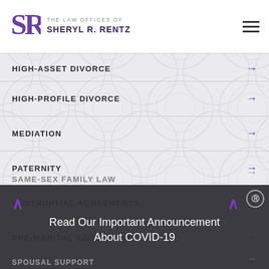[Figure (logo): The Law Offices of Sheryl R. Rentz logo with SR monogram in purple]
HIGH-ASSET DIVORCE
HIGH-PROFILE DIVORCE
MEDIATION
PATERNITY
POSTNUPTIAL AGREEMENTS
PRE-MARITAL AGREEMENT
PROPERTY DIVISION
SAME-SEX FAMILY LAW
SPOUSAL SUPPORT
Read Our Important Announcement About COVID-19